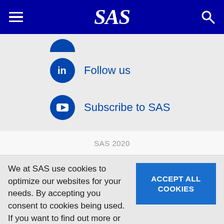SAS navigation bar with hamburger menu, SAS logo, and search icon
Follow us
Subscribe to SAS
SAS 2020
We at SAS use cookies to optimize our websites for your needs. By accepting you consent to cookies being used. If you want to find out more or disable cookies, please click here